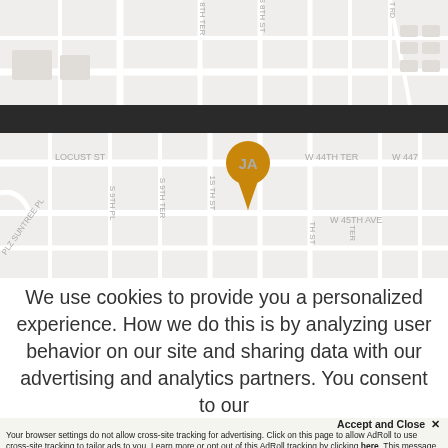[Figure (map): Street map showing neighborhood with JA location marker. Streets visible include Locust St, PLZ Suntree PL, S 9th PL, S 9th TER, 1S TH ST, S 8th TER, S 8th ST, W 44th TER, W 44T, W 45th AVE. Gold/orange JA pin marker in center.]
We use cookies to provide you a personalized experience. How we do this is by analyzing user behavior on our site and sharing data with our advertising and analytics partners. You consent to our
Accept and Close ✕
Your browser settings do not allow cross-site tracking for advertising. Click on this page to allow AdRoll to use cross-site tracking to tailor ads to you. Learn more or opt out of this AdRoll tracking by clicking here. This message only appears once.